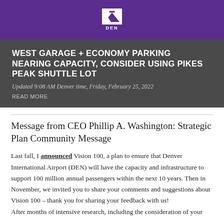[Figure (logo): DEN (Denver International Airport) logo — white mountain/airplane graphic above the text DEN on a purple background]
WEST GARAGE + ECONOMY PARKING NEARING CAPACITY, CONSIDER USING PIKES PEAK SHUTTLE LOT
Updated 9:08 AM Denver time, Friday, February 25, 2022
READ MORE
Message from CEO Phillip A. Washington: Strategic Plan Community Message
Last fall, I announced Vision 100, a plan to ensure that Denver International Airport (DEN) will have the capacity and infrastructure to support 100 million annual passengers within the next 10 years. Then in November, we invited you to share your comments and suggestions about Vision 100 – thank you for sharing your feedback with us!
After months of intensive research, including the consideration of your